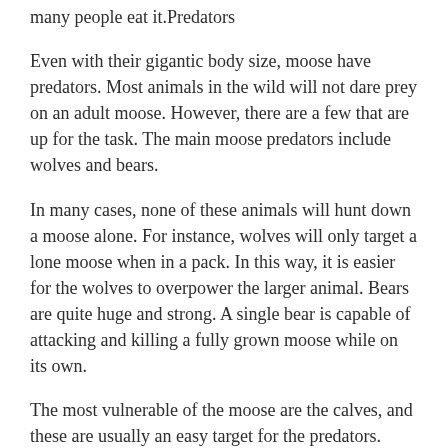many people eat it.Predators
Even with their gigantic body size, moose have predators. Most animals in the wild will not dare prey on an adult moose. However, there are a few that are up for the task. The main moose predators include wolves and bears.
In many cases, none of these animals will hunt down a moose alone. For instance, wolves will only target a lone moose when in a pack. In this way, it is easier for the wolves to overpower the larger animal. Bears are quite huge and strong. A single bear is capable of attacking and killing a fully grown moose while on its own.
The most vulnerable of the moose are the calves, and these are usually an easy target for the predators. They are small, powerless, and less dangerous than their parents.